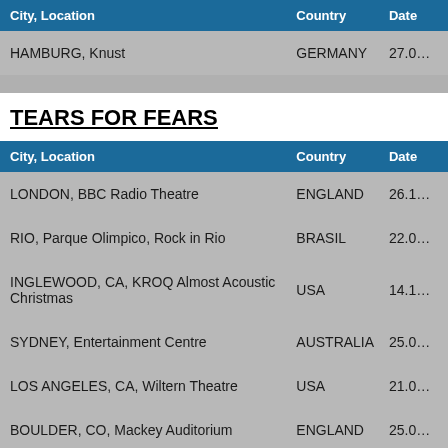| City, Location | Country | Date |
| --- | --- | --- |
| HAMBURG, Knust | GERMANY | 27.0… |
TEARS FOR FEARS
| City, Location | Country | Date |
| --- | --- | --- |
| LONDON, BBC Radio Theatre | ENGLAND | 26.1… |
| RIO, Parque Olimpico, Rock in Rio | BRASIL | 22.0… |
| INGLEWOOD, CA, KROQ Almost Acoustic Christmas | USA | 14.1… |
| SYDNEY, Entertainment Centre | AUSTRALIA | 25.0… |
| LOS ANGELES, CA, Wiltern Theatre | USA | 21.0… |
| BOULDER, CO, Mackey Auditorium | ENGLAND | 25.0… |
| SANTIAGO DE CHILE, Estadio Chile | CHILE | 11.0… |